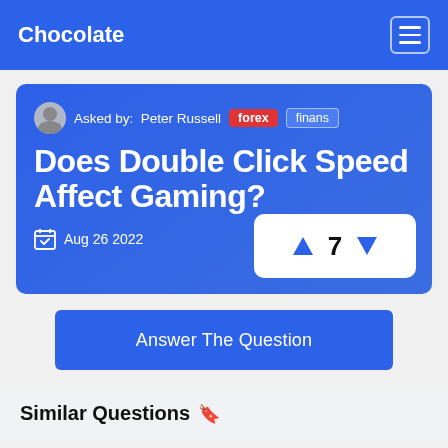Chocolate
Asked by: Peter Russell  forex  finans
Does Double Click Speed Affect Gaming?
Aug 26 2022
▲  7  ▼
Answer The Question
Similar Questions  🔖